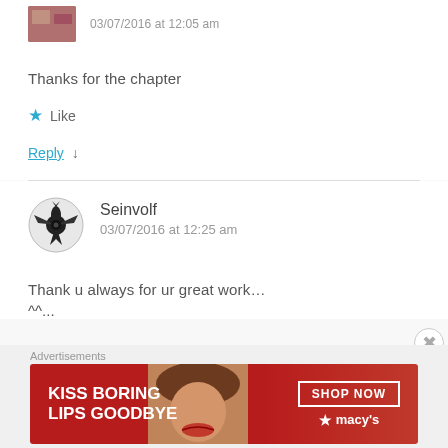03/07/2016 at 12:05 am
Thanks for the chapter
★ Like
Reply ↓
Seinvolf
03/07/2016 at 12:25 am
Thank u always for ur great work…
^^...
[Figure (illustration): Advertisement banner: KISS BORING LIPS GOODBYE with woman's face and Macy's SHOP NOW button on red background]